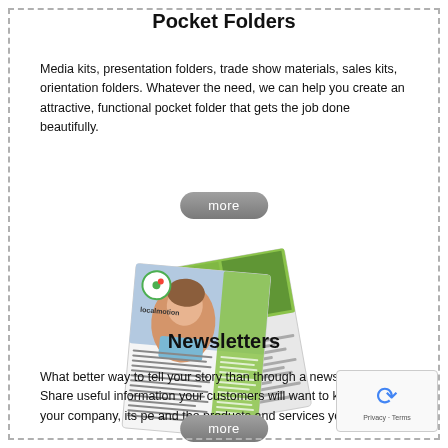Pocket Folders
Media kits, presentation folders, trade show materials, sales kits, orientation folders. Whatever the need, we can help you create an attractive, functional pocket folder that gets the job done beautifully.
[Figure (illustration): Button/pill shape with text 'more']
[Figure (photo): Two overlapping newsletter/brochure booklets with images of a woman and a store, with 'localmotion' branding and a green circle logo.]
Newsletters
What better way to tell your story than through a newsletter? Share useful information your customers will want to know about your company, its pe and the products and services you provide.
[Figure (illustration): Button/pill shape with text 'more']